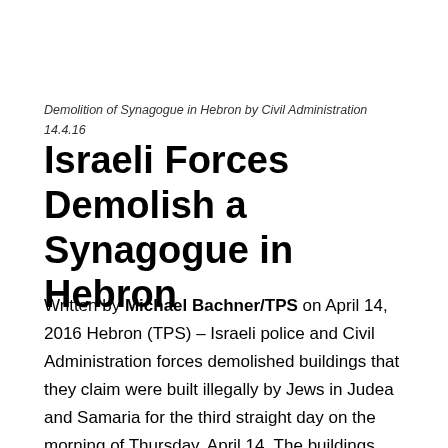Demolition of Synagogue in Hebron by Civil Administration 14.4.16
Israeli Forces Demolish a Synagogue in Hebron
Written by Michael Bachner/TPS on April 14, 2016 Hebron (TPS) – Israeli police and Civil Administration forces demolished buildings that they claim were built illegally by Jews in Judea and Samaria for the third straight day on the morning of Thursday, April 14. The buildings demolished in a neighborhood in Hebron included a synagogue and a goat pen.